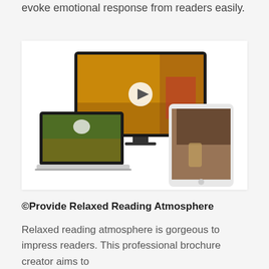evoke emotional response from readers easily.
[Figure (screenshot): Screenshot showing three devices: a large laptop/monitor in the center displaying an autumn scene with a girl in a red hat holding leaves and a play button overlay, a smaller laptop on the left showing a baby sitting in autumn leaves, and a tablet on the right showing a woman with a perfume bottle.]
©Provide Relaxed Reading Atmosphere
Relaxed reading atmosphere is gorgeous to impress readers. This professional brochure creator aims to